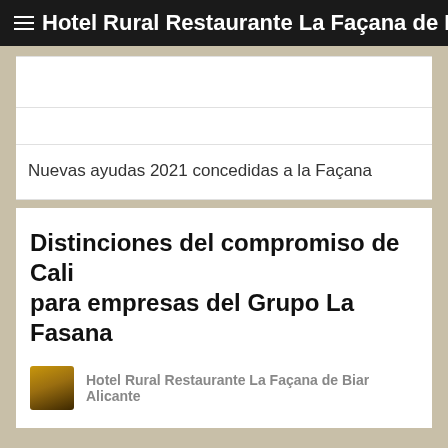Hotel Rural Restaurante La Façana de Biar Alicante
Nuevas ayudas 2021 concedidas a la Façana
Distinciones del compromiso de Cali para empresas del Grupo La Fasana
Hotel Rural Restaurante La Façana de Biar Alicante